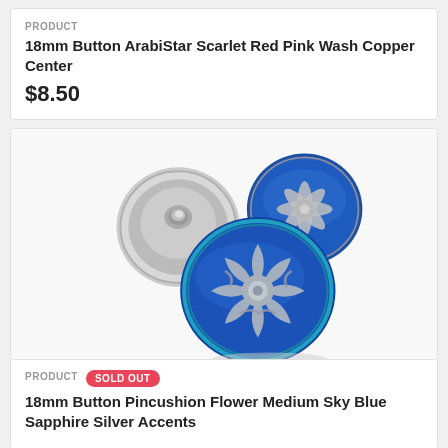PRODUCT
18mm Button ArabiStar Scarlet Red Pink Wash Copper Center
$8.50
[Figure (photo): Three decorative 18mm buttons with blue sapphire glass and silver floral/pincushion flower accents, shown from different angles including front and back views.]
PRODUCT  SOLD OUT
18mm Button Pincushion Flower Medium Sky Blue Sapphire Silver Accents